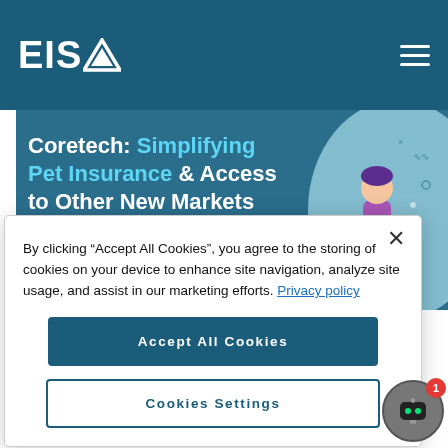EISA
[Figure (illustration): EISA website banner showing 'Coretech: Simplifying Pet Insurance & Access to Other New Markets' with a cartoon illustration of a person with a pet]
By clicking “Accept All Cookies”, you agree to the storing of cookies on your device to enhance site navigation, analyze site usage, and assist in our marketing efforts. Privacy policy
Accept All Cookies
Cookies Settings